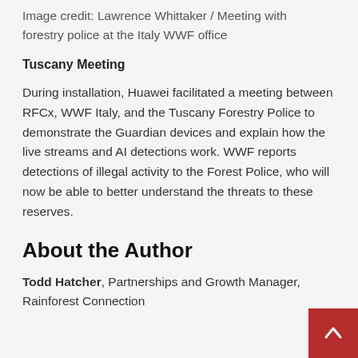Image credit: Lawrence Whittaker / Meeting with forestry police at the Italy WWF office
Tuscany Meeting
During installation, Huawei facilitated a meeting between RFCx, WWF Italy, and the Tuscany Forestry Police to demonstrate the Guardian devices and explain how the live streams and AI detections work. WWF reports detections of illegal activity to the Forest Police, who will now be able to better understand the threats to these reserves.
About the Author
Todd Hatcher, Partnerships and Growth Manager, Rainforest Connection